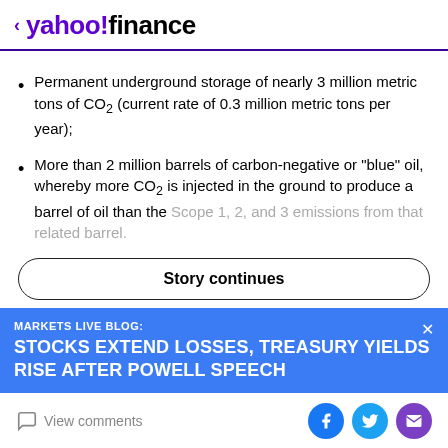< yahoo!finance
Permanent underground storage of nearly 3 million metric tons of CO₂ (current rate of 0.3 million metric tons per year);
More than 2 million barrels of carbon-negative or "blue" oil, whereby more CO₂ is injected in the ground to produce a barrel of oil than the Scope 1, 2, and 3 emissions from that related barrel.
Story continues
MARKETS LIVE BLOG: STOCKS EXTEND LOSSES, TREASURY YIELDS RISE AFTER POWELL SPEECH
View comments